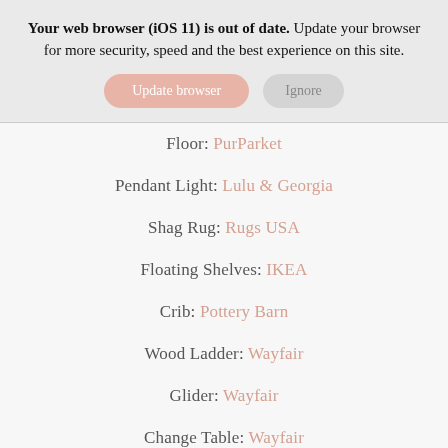Your web browser (iOS 11) is out of date. Update your browser for more security, speed and the best experience on this site.
Floor: PurParket
Pendant Light: Lulu & Georgia
Shag Rug: Rugs USA
Floating Shelves: IKEA
Crib: Pottery Barn
Wood Ladder: Wayfair
Glider: Wayfair
Change Table: Wayfair